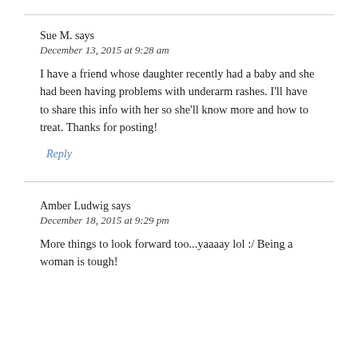Sue M. says
December 13, 2015 at 9:28 am
I have a friend whose daughter recently had a baby and she had been having problems with underarm rashes. I'll have to share this info with her so she'll know more and how to treat. Thanks for posting!
Reply
Amber Ludwig says
December 18, 2015 at 9:29 pm
More things to look forward too...yaaaay lol :/ Being a woman is tough!